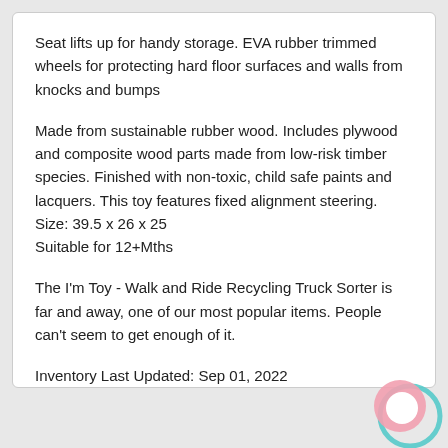Seat lifts up for handy storage. EVA rubber trimmed wheels for protecting hard floor surfaces and walls from knocks and bumps
Made from sustainable rubber wood. Includes plywood and composite wood parts made from low-risk timber species. Finished with non-toxic, child safe paints and lacquers. This toy features fixed alignment steering.
Size: 39.5 x 26 x 25
Suitable for 12+Mths
The I'm Toy - Walk and Ride Recycling Truck Sorter is far and away, one of our most popular items. People can't seem to get enough of it.
Inventory Last Updated: Sep 01, 2022
[Figure (logo): Circular logo with pink and teal/cyan rings, white center, on lower right corner]